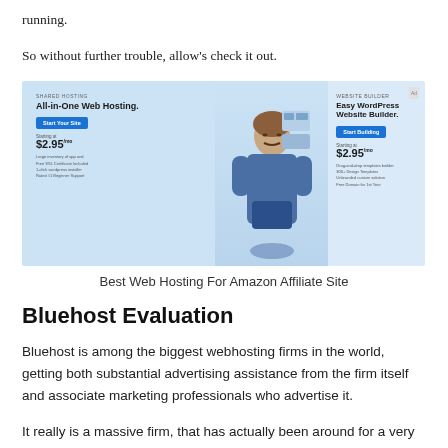running.
So without further trouble, allow's check it out.
[Figure (screenshot): Bluehost website advertisement showing All-in-One Web Hosting and Easy WordPress Website Builder options with pricing starting at $2.95/mo]
Best Web Hosting For Amazon Affiliate Site
Bluehost Evaluation
Bluehost is among the biggest webhosting firms in the world, getting both substantial advertising assistance from the firm itself and associate marketing professionals who advertise it.
It really is a massive firm, that has actually been around for a very